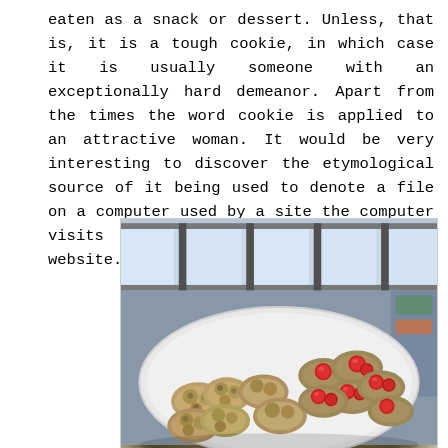eaten as a snack or dessert. Unless, that is, it is a tough cookie, in which case it is usually someone with an exceptionally hard demeanor. Apart from the times the word cookie is applied to an attractive woman. It would be very interesting to discover the etymological source of it being used to denote a file on a computer used by a site the computer visits to store data useful to that website.
[Figure (photo): A white plate filled with various cookies — some plain/walnut drop cookies and some topped with red maraschino cherries, shot from above at a slight angle. Background shows a window with grey frames and a table surface.]